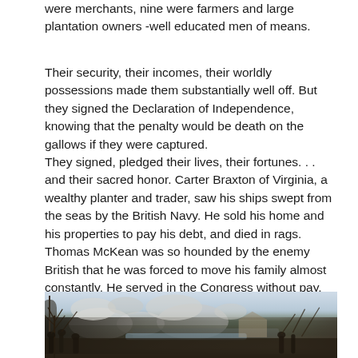were merchants, nine were farmers and large plantation owners -well educated men of means.
Their security, their incomes, their worldly possessions made them substantially well off. But they signed the Declaration of Independence, knowing that the penalty would be death on the gallows if they were captured.
They signed, pledged their lives, their fortunes. . . and their sacred honor. Carter Braxton of Virginia, a wealthy planter and trader, saw his ships swept from the seas by the British Navy. He sold his home and his properties to pay his debt, and died in rags. Thomas McKean was so hounded by the enemy British that he was forced to move his family almost constantly. He served in the Congress without pay, and his family was kept in hiding. His possessions were taken from him, and poverty was his reward.
[Figure (illustration): A historical illustration depicting a Revolutionary War battle scene, showing soldiers with muskets and bayonets near a body of water, with smoke from gunfire, bare trees, and buildings in the background.]